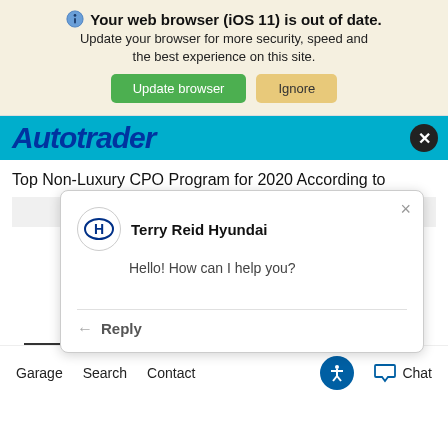Your web browser (iOS 11) is out of date. Update your browser for more security, speed and the best experience on this site. Update browser | Ignore
[Figure (screenshot): Autotrader logo on a teal/cyan navigation bar with a close (X) button on the right]
Top Non-Luxury CPO Program for 2020 According to
[Figure (screenshot): Chat popup from Terry Reid Hyundai with Hyundai logo, message 'Hello! How can I help you?' and a Reply button. Has a close X button.]
Find the Hyundai Certified Used Vehicle that's right for you.
Garage   Search   Contact   [accessibility icon]   [chat icon] Chat